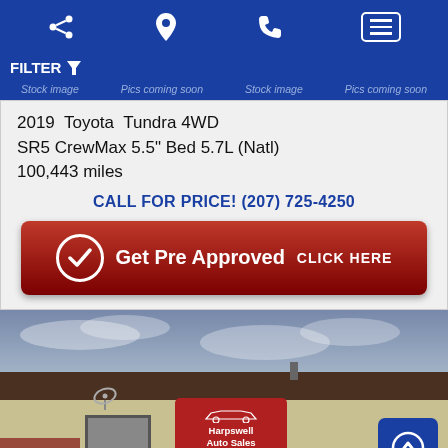Navigation bar with share, location, phone, and menu icons
FILTER
Stock image   Pics coming soon   Stock image   Pics coming soon
2019 Toyota Tundra 4WD SR5 CrewMax 5.5" Bed 5.7L (Natl)
100,443 miles
CALL FOR PRICE! (207) 725-4250
✓ Get Pre Approved   CLICK HERE
[Figure (photo): Exterior photo of Harpswell Auto Sales dealership building with sign reading 'Harpswell Auto Sales We Finance Anyone 725-4250']